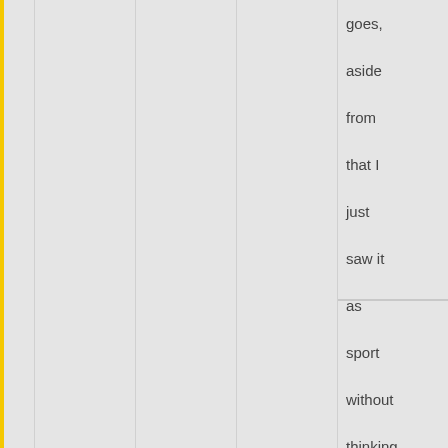goes, aside from that I just saw it as sport without thinking too much about it ^o^ It's good that the sport itself isn't too much